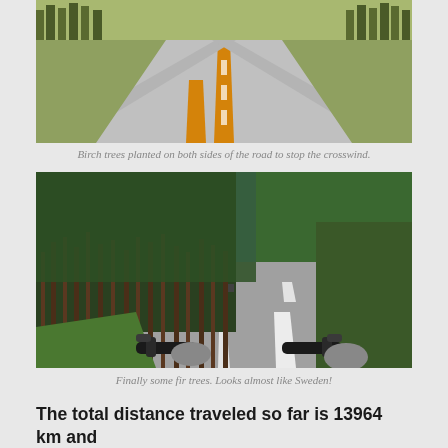[Figure (photo): A straight road with orange center line stretching into the distance, grassy fields and birch trees on both sides, taken from a low angle perspective.]
Birch trees planted on both sides of the road to stop the crosswind.
[Figure (photo): A straight road through a dense forest of tall fir trees on the left side, blue sky with white clouds visible, motorcycle handlebars visible at the bottom, taken from a motorcycle rider's perspective.]
Finally some fir trees. Looks almost like Sweden!
The total distance traveled so far is 13964 km and